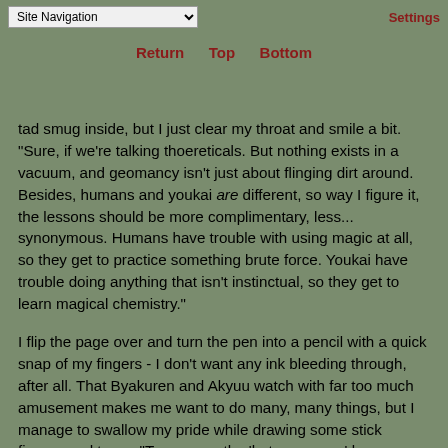Site Navigation | Settings | Return | Top | Bottom
tad smug inside, but I just clear my throat and smile a bit. "Sure, if we're talking thoereticals. But nothing exists in a vacuum, and geomancy isn't just about flinging dirt around. Besides, humans and youkai are different, so way I figure it, the lessons should be more complimentary, less... synonymous. Humans have trouble with using magic at all, so they get to practice something brute force. Youkai have trouble doing anything that isn't instinctual, so they get to learn magical chemistry."
I flip the page over and turn the pen into a pencil with a quick snap of my fingers - I don't want any ink bleeding through, after all. That Byakuren and Akyuu watch with far too much amusement makes me want to do many, many things, but I manage to swallow my pride while drawing some stick figures and trees. "To sum up, the 'heterogenous' lessons are going to be focused on the practical. I could teach lessons on regeant hunting in my sleep, and even make up a